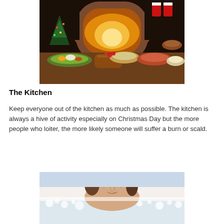[Figure (photo): A festive Christmas dinner spread with various dishes including ham, salads, bread, and sides on a table in front of a fireplace with Christmas stockings and decorations.]
The Kitchen
Keep everyone out of the kitchen as much as possible. The kitchen is always a hive of activity especially on Christmas Day but the more people who loiter, the more likely someone will suffer a burn or scald.
[Figure (photo): A woman relaxing in a bathtub with bubbles, eyes closed, appearing calm and serene.]